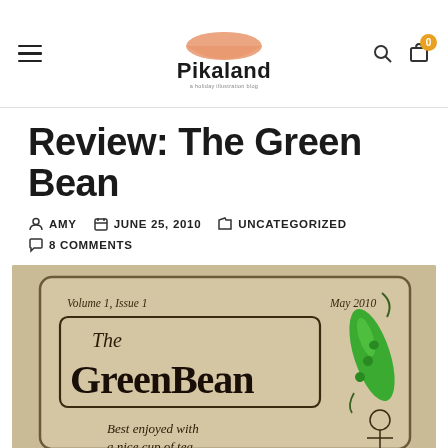Pikaland — navigation header with hamburger menu, logo, search, and cart icons
Review: The Green Bean
AMY   JUNE 25, 2010   UNCATEGORIZED   8 COMMENTS
[Figure (photo): Photo of The Green Bean zine cover, Volume 1, Issue 1, May 2010, showing hand-drawn text and a green bean illustration. Text reads: Best enjoyed with a nice cup of tea.]